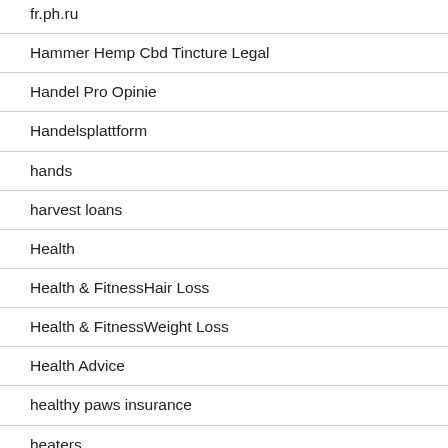fr.ph.ru
Hammer Hemp Cbd Tincture Legal
Handel Pro Opinie
Handelsplattform
hands
harvest loans
Health
Health & FitnessHair Loss
Health & FitnessWeight Loss
Health Advice
healthy paws insurance
heaters